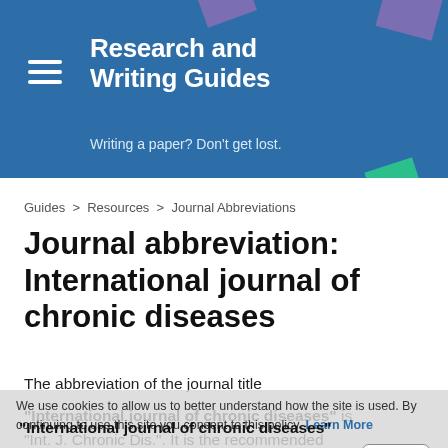Research and Writing Guides
Writing a paper? Don't get lost.
Guides > Resources > Journal Abbreviations
Journal abbreviation: International journal of chronic diseases
The abbreviation of the journal title "International journal of chronic diseases" is "Int. J. Chronic Dis.". It is the recommended abbreviation to be used for abstracting, indexing and referencing purposes and meets all criteria
We use cookies to allow us to better understand how the site is used. By continuing to use this site you consent to this policy.
Learn More   Got it